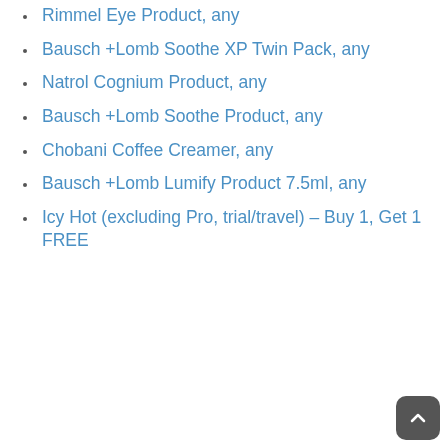Rimmel Eye Product, any
Bausch +Lomb Soothe XP Twin Pack, any
Natrol Cognium Product, any
Bausch +Lomb Soothe Product, any
Chobani Coffee Creamer, any
Bausch +Lomb Lumify Product 7.5ml, any
Icy Hot (excluding Pro, trial/travel) – Buy 1, Get 1 FREE